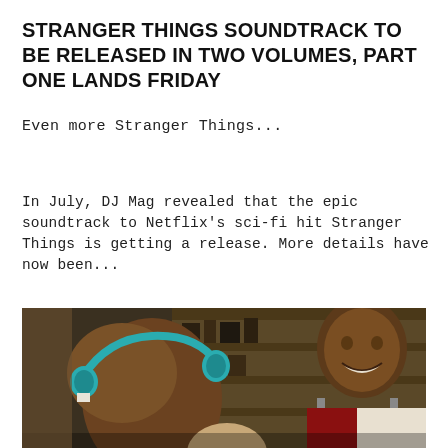STRANGER THINGS SOUNDTRACK TO BE RELEASED IN TWO VOLUMES, PART ONE LANDS FRIDAY
Even more Stranger Things...
In July, DJ Mag revealed that the epic soundtrack to Netflix's sci-fi hit Stranger Things is getting a release. More details have now been...
[Figure (photo): Scene from Stranger Things showing children, one wearing teal headphones, in what appears to be an indoor setting with shelves in background.]